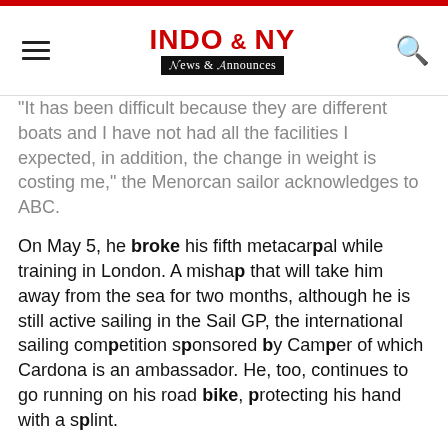INDO & NY News & Announces
"It has been difficult because they are different boats and I have not had all the facilities I expected, in addition, the change in weight is costing me," the Menorcan sailor acknowledges to ABC.
On May 5, he broke his fifth metacarpal while training in London. A mishap that will take him away from the sea for two months, although he is still active sailing in the Sail GP, the international sailing competition sponsored by Camper of which Cardona is an ambassador. He, too, continues to go running on his road bike, protecting his hand with a splint.
The bad thing is that during this time Joan Cardona has gained 5 or 6 kilos, after the effort it took to get down to 85 (he weighed 100). "I'm still on a diet, but